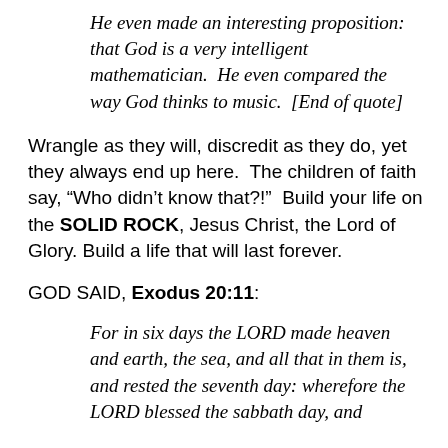He even made an interesting proposition: that God is a very intelligent mathematician.  He even compared the way God thinks to music.  [End of quote]
Wrangle as they will, discredit as they do, yet they always end up here.  The children of faith say, “Who didn’t know that?!”  Build your life on the SOLID ROCK, Jesus Christ, the Lord of Glory.  Build a life that will last forever.
GOD SAID, Exodus 20:11:
For in six days the LORD made heaven and earth, the sea, and all that in them is, and rested the seventh day: wherefore the LORD blessed the sabbath day, and